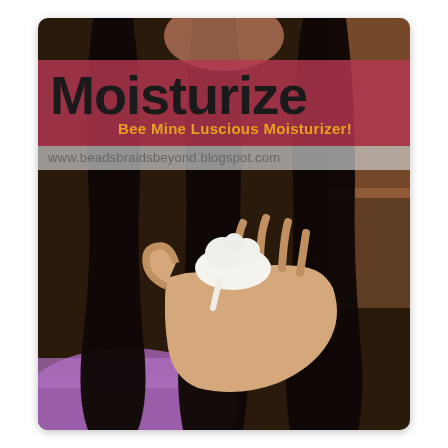[Figure (photo): A photo of a child with long, twisted/braided dark natural hair seen from behind, wearing a purple top. An adult hand holds a dollop of white cream moisturizer in the palm near the hair. The image is overlaid with a pink/rose banner showing 'Moisturize' in large black text and 'Bee Mine Luscious Moisturizer!' in orange, plus a URL watermark 'www.beadsbraidsbeyond.blogspot.com'.]